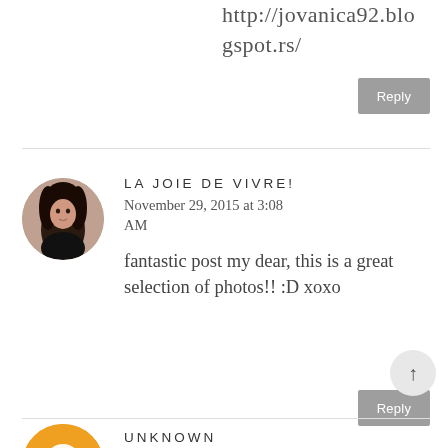http://jovanica92.blogspot.rs/
Reply
LA JOIE DE VIVRE!
November 29, 2015 at 3:08 AM
fantastic post my dear, this is a great selection of photos!! :D xoxo
Reply
UNKNOWN